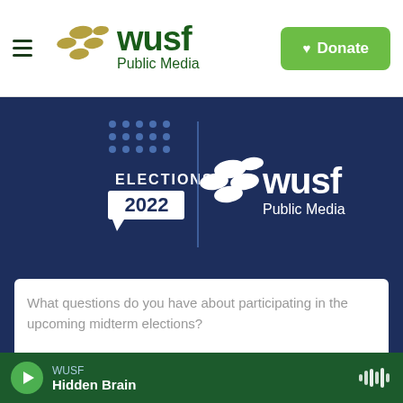[Figure (logo): WUSF Public Media logo with hamburger menu icon in top navigation bar]
[Figure (screenshot): Green Donate button with heart icon in top right of navigation]
[Figure (logo): Elections 2022 and WUSF Public Media logo on dark blue background]
What questions do you have about participating in the upcoming midterm elections?
0/240
Your contact info
We'll be in touch with an answer to your question soon.
Name
WUSF Hidden Brain